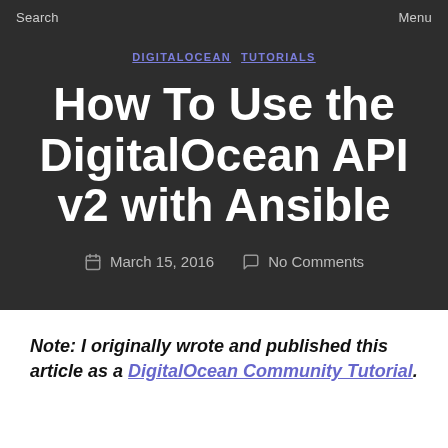Search    Menu
DIGITALOCEAN TUTORIALS
How To Use the DigitalOcean API v2 with Ansible
March 15, 2016    No Comments
Note: I originally wrote and published this article as a DigitalOcean Community Tutorial.